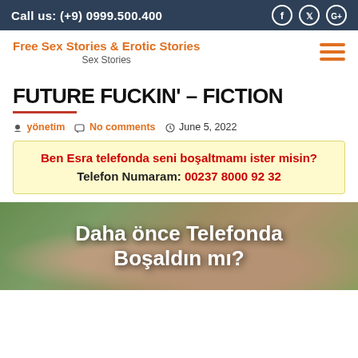Call us: (+9) 0999.500.400
Free Sex Stories & Erotic Stories
Sex Stories
FUTURE FUCKIN' – FICTION
yönetim   No comments   June 5, 2022
Ben Esra telefonda seni boşaltmamı ister misin?
Telefon Numaram: 00237 8000 92 32
[Figure (photo): Person lying down with overlay text 'Daha önce Telefonda Boşaldın mı?']